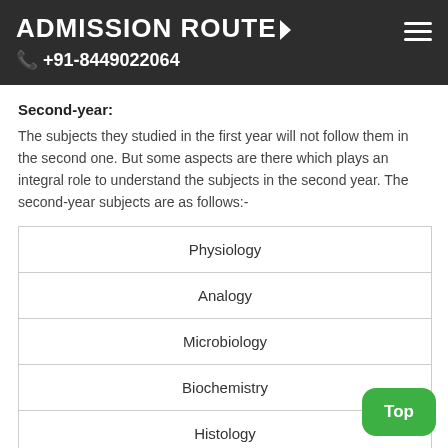ADMISSION ROUTE
+91-8449022064
Second-year:
The subjects they studied in the first year will not follow them in the second one. But some aspects are there which plays an integral role to understand the subjects in the second year. The second-year subjects are as follows:-
| Physiology |
| Analogy |
| Microbiology |
| Biochemistry |
| Histology |